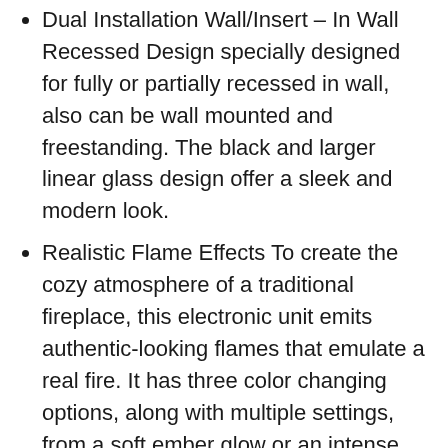Dual Installation Wall/Insert – In Wall Recessed Design specially designed for fully or partially recessed in wall, also can be wall mounted and freestanding. The black and larger linear glass design offer a sleek and modern look.
Realistic Flame Effects To create the cozy atmosphere of a traditional fireplace, this electronic unit emits authentic-looking flames that emulate a real fire. It has three color changing options, along with multiple settings, from a soft ember glow or an intense blaze. Heat and flame settings can be operated through a remote control
Front air outlet design can be perfectly installed under the TV more than 8"-inch distance. Whisper quiet blower heating, 750-watt and 1500-watt heating modes,12.5